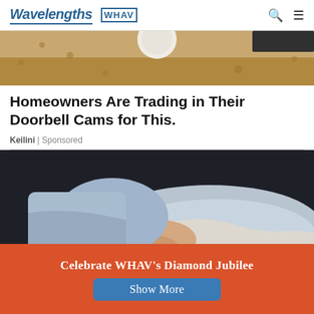Wavelengths | WHAV
[Figure (photo): Partial photo of a doorbell camera or security device mounted on a textured wall, seen from bottom portion]
Homeowners Are Trading in Their Doorbell Cams for This.
Keilini | Sponsored
[Figure (photo): Close-up photo of a person in a blue shirt pointing at or touching an elderly person's arm or hand, with a dark background]
Celebrate WHAV's Diamond Jubilee
Show More